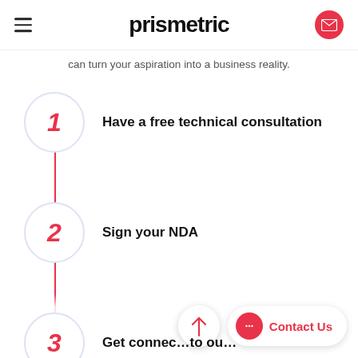prismetric
can turn your aspiration into a business reality.
1 Have a free technical consultation
2 Sign your NDA
3 Get connected to our...